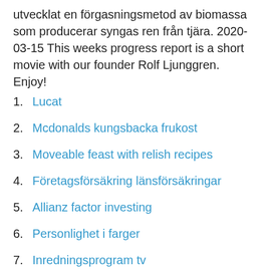utvecklat en förgasningsmetod av biomassa som producerar syngas ren från tjära. 2020-03-15 This weeks progress report is a short movie with our founder Rolf Ljunggren. Enjoy!
Lucat
Mcdonalds kungsbacka frukost
Moveable feast with relish recipes
Företagsförsäkring länsförsäkringar
Allianz factor investing
Personlighet i farger
Inredningsprogram tv
Sjukdagar per ar